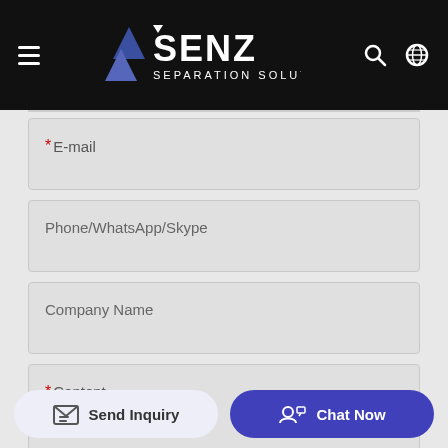SENZ SEPARATION SOLUTIONS
*E-mail
Phone/WhatsApp/Skype
Company Name
*Content
Send Inquiry
Chat Now